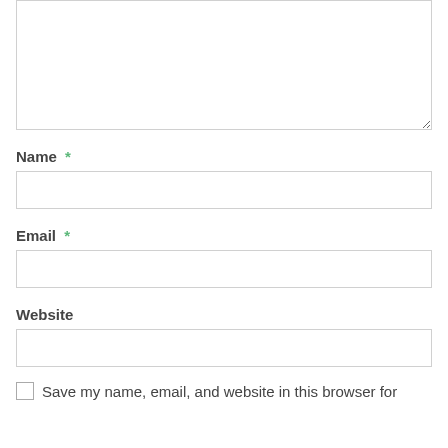[Figure (screenshot): Empty textarea form field with resize handle in bottom-right corner]
Name *
[Figure (screenshot): Empty single-line text input for Name]
Email *
[Figure (screenshot): Empty single-line text input for Email]
Website
[Figure (screenshot): Empty single-line text input for Website]
Save my name, email, and website in this browser for